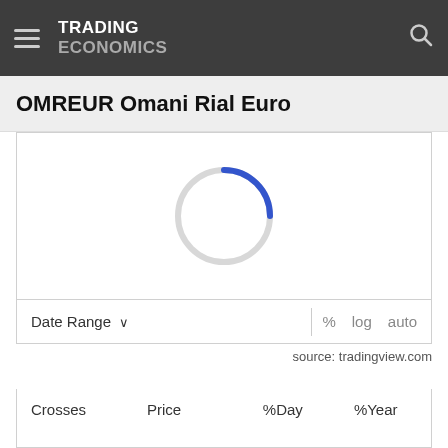TRADING ECONOMICS
OMREUR Omani Rial Euro
[Figure (other): Loading spinner — a circular spinner graphic with a blue arc on the top-right portion and a light gray arc for the rest of the circle, indicating chart data is loading.]
Date Range ∨   %   log   auto
source: tradingview.com
| Crosses | Price | %Day | %Year |
| --- | --- | --- | --- |